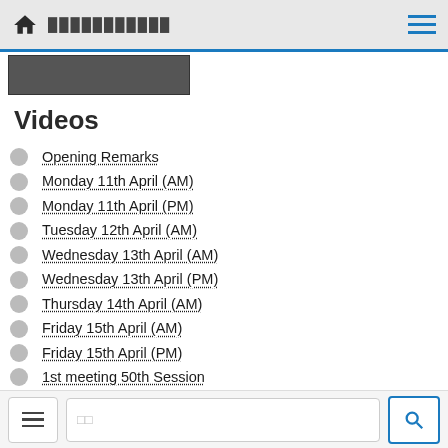Home | ███████████
[Figure (screenshot): Small thumbnail image strip at top of content area]
Videos
Opening Remarks
Monday 11th April (AM)
Monday 11th April (PM)
Tuesday 12th April (AM)
Wednesday 13th April (AM)
Wednesday 13th April (PM)
Thursday 14th April (AM)
Friday 15th April (AM)
Friday 15th April (PM)
1st meeting 50th Session
Menu | Search